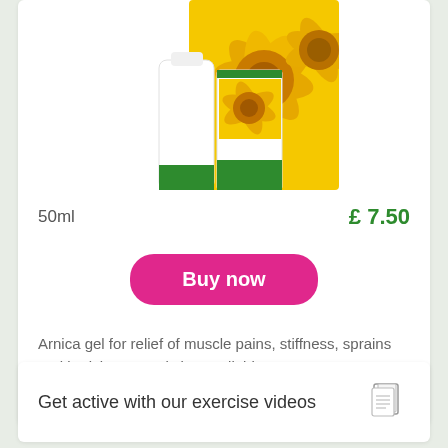[Figure (photo): Arnica gel product tube and box with yellow flower image, showing 'RELIEVE ACHES & PAINS' text on packaging]
50ml
£ 7.50
Buy now
Arnica gel for relief of muscle pains, stiffness, sprains and bruising. 100ml size available. More info
Get active with our exercise videos